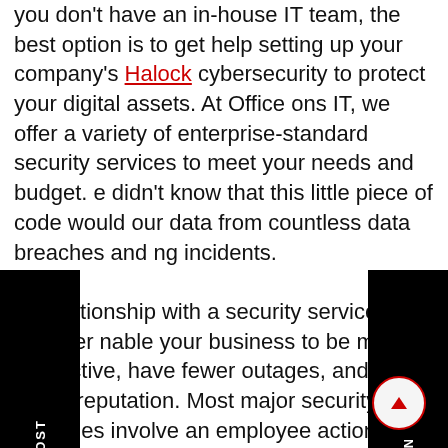you don't have an in-house IT team, the best option is to get help setting up your company's Halock cybersecurity to protect your digital assets. At Office ons IT, we offer a variety of enterprise-standard security services to meet your needs and budget. e didn't know that this little piece of code would our data from countless data breaches and ng incidents. se relationship with a security service provider nable your business to be more productive, have fewer outages, and a better reputation. Most major security breaches involve an employee action that allowed hackers to gain access to the system. A firewall is a set of related programs that prevent outsiders from accessing data on a private network.